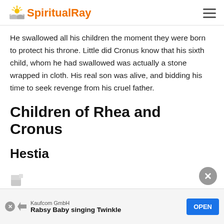SpiritualRay
He swallowed all his children the moment they were born to protect his throne. Little did Cronus know that his sixth child, whom he had swallowed was actually a stone wrapped in cloth. His real son was alive, and bidding his time to seek revenge from his cruel father.
Children of Rhea and Cronus
Hestia
[Figure (other): Document icon partially visible at bottom]
Kaufcom GmbH
Rabsy Baby singing Twinkle
OPEN